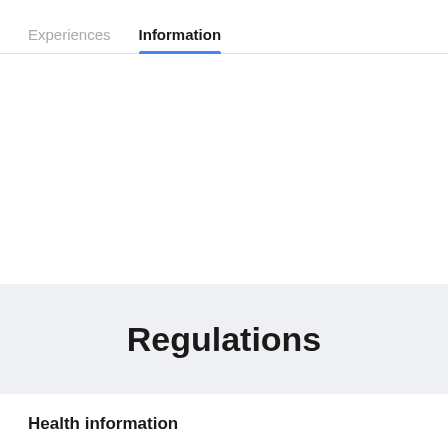Experiences  Information
Regulations
Health information